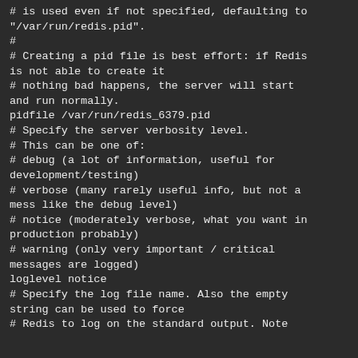# is used even if not specified, defaulting to "/var/run/redis.pid".
#
# Creating a pid file is best effort: if Redis is not able to create it
# nothing bad happens, the server will start and run normally.
pidfile /var/run/redis_6379.pid
# Specify the server verbosity level.
# This can be one of:
# debug (a lot of information, useful for development/testing)
# verbose (many rarely useful info, but not a mess like the debug level)
# notice (moderately verbose, what you want in production probably)
# warning (only very important / critical messages are logged)
loglevel notice
# Specify the log file name. Also the empty string can be used to force
# Redis to log on the standard output. Note